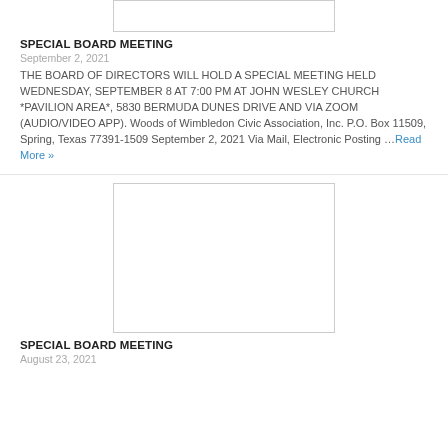[Figure (photo): Placeholder image box at top of page (cropped)]
SPECIAL BOARD MEETING
September 2, 2021
THE BOARD OF DIRECTORS WILL HOLD A SPECIAL MEETING HELD WEDNESDAY, SEPTEMBER 8 AT 7:00 PM AT JOHN WESLEY CHURCH *PAVILION AREA*, 5830 BERMUDA DUNES DRIVE AND VIA ZOOM (AUDIO/VIDEO APP). Woods of Wimbledon Civic Association, Inc. P.O. Box 11509, Spring, Texas 77391-1509 September 2, 2021 Via Mail, Electronic Posting … Read More »
[Figure (photo): Placeholder image box for second article]
SPECIAL BOARD MEETING
August 23, 2021